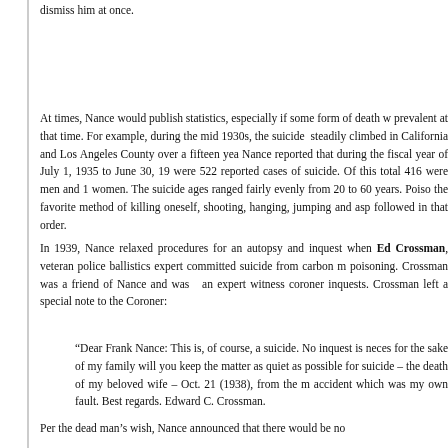dismiss him at once.
At times, Nance would publish statistics, especially if some form of death w... prevalent at that time. For example, during the mid 1930s, the suicide ... steadily climbed in California and Los Angeles County over a fifteen yea... Nance reported that during the fiscal year of July 1, 1935 to June 30, 19... were 522 reported cases of suicide. Of this total 416 were men and 1... women. The suicide ages ranged fairly evenly from 20 to 60 years. Poiso... the favorite method of killing oneself, shooting, hanging, jumping and asp... followed in that order.
In 1939, Nance relaxed procedures for an autopsy and inquest when Edward Crossman, veteran police ballistics expert committed suicide from carbon m... poisoning. Crossman was a friend of Nance and was an expert witness... coroner inquests. Crossman left a special note to the Coroner:
“Dear Frank Nance: This is, of course, a suicide. No inquest is neces... for the sake of my family will you keep the matter as quiet as possible... for suicide – the death of my beloved wife – Oct. 21 (1938), from the m... accident which was my own fault. Best regards. Edward C. Crossman.
Per the dead man’s wish, Nance announced that there would be no...